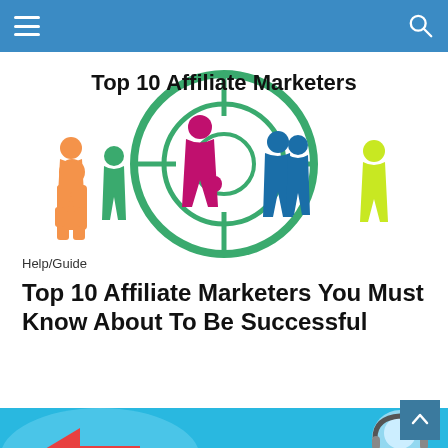[Figure (illustration): Top 10 Affiliate Marketers illustration showing colorful silhouettes of people (orange, green, magenta, blue, yellow-green) against a target/crosshair background, with bold text 'Top 10 Affiliate Marketers' at the top]
Help/Guide
Top 10 Affiliate Marketers You Must Know About To Be Successful
READ MORE
[Figure (illustration): Banner image on blue/cyan background with red arrow and text '30% Commissions!' and a person wearing a headset on the right]